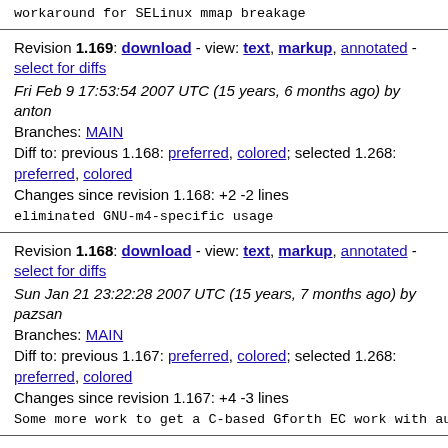workaround for SELinux mmap breakage
Revision 1.169: download - view: text, markup, annotated - select for diffs
Fri Feb 9 17:53:54 2007 UTC (15 years, 6 months ago) by anton
Branches: MAIN
Diff to: previous 1.168: preferred, colored; selected 1.268: preferred, colored
Changes since revision 1.168: +2 -2 lines
eliminated GNU-m4-specific usage
Revision 1.168: download - view: text, markup, annotated - select for diffs
Sun Jan 21 23:22:28 2007 UTC (15 years, 7 months ago) by pazsan
Branches: MAIN
Diff to: previous 1.167: preferred, colored; selected 1.268: preferred, colored
Changes since revision 1.167: +4 -3 lines
Some more work to get a C-based Gforth EC work with autoc
Revision 1.167: download - view: text, markup, annotated - select for diffs
Sun Jan 21 17:29:52 2007 UTC (15 years, 7 months ago) by